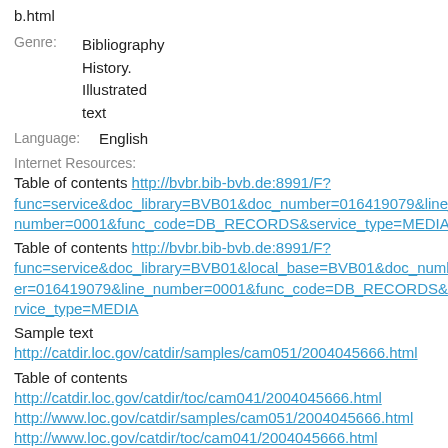b.html
Genre:  Bibliography
        History.
        Illustrated
        text
Language:  English
Internet Resources:
Table of contents http://bvbr.bib-bvb.de:8991/F?func=service&doc_library=BVB01&doc_number=016419079&line_number=0001&func_code=DB_RECORDS&service_type=MEDIA
Table of contents http://bvbr.bib-bvb.de:8991/F?func=service&doc_library=BVB01&local_base=BVB01&doc_number=016419079&line_number=0001&func_code=DB_RECORDS&service_type=MEDIA
Sample text
http://catdir.loc.gov/catdir/samples/cam051/2004045666.html
Table of contents
http://catdir.loc.gov/catdir/toc/cam041/2004045666.html
http://www.loc.gov/catdir/samples/cam051/2004045666.html
http://www.loc.gov/catdir/toc/cam041/2004045666.html
Related Internet Resources: